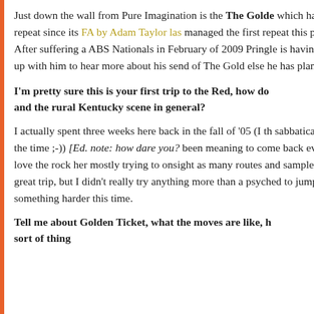Just down the wall from Pure Imagination is the The Golden which hadn't seen a repeat since its FA by Adam Taylor las managed the first repeat this past Friday. After suffering a ABS Nationals in February of 2009 Pringle is having a grea catch up with him to hear more about his send of The Gold else he has planned:
I'm pretty sure this is your first trip to the Red, how do and the rural Kentucky scene in general?
I actually spent three weeks here back in the fall of '05 (I th sabbatical from 8a at the time ;-)) [Ed. note: how dare you? been meaning to come back ever since. I love the rock her mostly trying to onsight as many routes and sample as ma had a great trip, but I didn't really try anything more than a psyched to jump on something harder this time.
Tell me about Golden Ticket, what the moves are like, h sort of thing